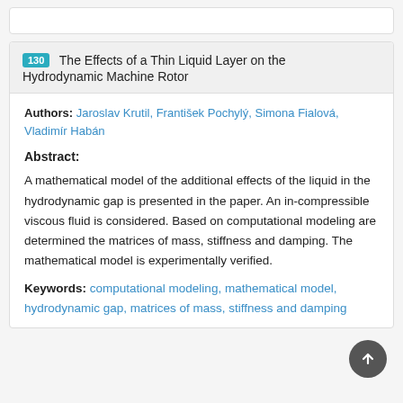130 The Effects of a Thin Liquid Layer on the Hydrodynamic Machine Rotor
Authors: Jaroslav Krutil, František Pochylý, Simona Fialová, Vladimír Habán
Abstract:
A mathematical model of the additional effects of the liquid in the hydrodynamic gap is presented in the paper. An in-compressible viscous fluid is considered. Based on computational modeling are determined the matrices of mass, stiffness and damping. The mathematical model is experimentally verified.
Keywords: computational modeling, mathematical model, hydrodynamic gap, matrices of mass, stiffness and damping